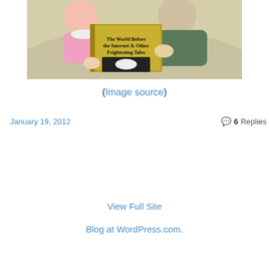[Figure (illustration): Cartoon illustration of two characters in bed, one holding a book titled 'The World Before the Internet & Other Frightening Tales']
(Image source)
January 19, 2012
6 Replies
View Full Site
Blog at WordPress.com.